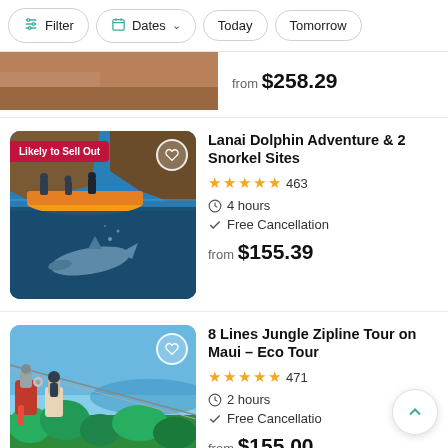Filter | Dates | Today | Tomorrow
from $258.29
Lanai Dolphin Adventure & 2 Snorkel Sites
★★★★★ 463 · 4 hours · Free Cancellation · from $155.39
8 Lines Jungle Zipline Tour on Maui – Eco Tour
★★★★★ 471 · 2 hours · Free Cancellation · from $155.00